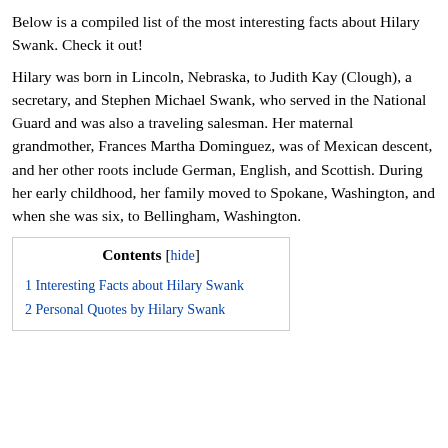Below is a compiled list of the most interesting facts about Hilary Swank. Check it out!
Hilary was born in Lincoln, Nebraska, to Judith Kay (Clough), a secretary, and Stephen Michael Swank, who served in the National Guard and was also a traveling salesman. Her maternal grandmother, Frances Martha Dominguez, was of Mexican descent, and her other roots include German, English, and Scottish. During her early childhood, her family moved to Spokane, Washington, and when she was six, to Bellingham, Washington.
| Contents [hide] |
| --- |
| 1 Interesting Facts about Hilary Swank |
| 2 Personal Quotes by Hilary Swank |